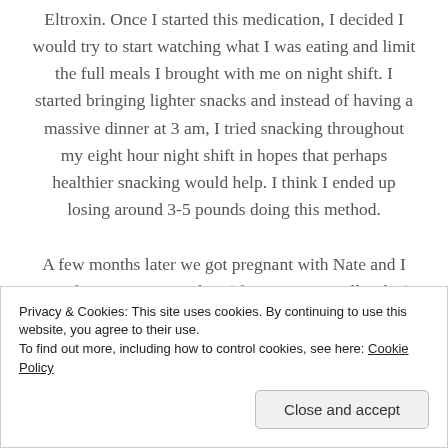Eltroxin. Once I started this medication, I decided I would try to start watching what I was eating and limit the full meals I brought with me on night shift. I started bringing lighter snacks and instead of having a massive dinner at 3 am, I tried snacking throughout my eight hour night shift in hopes that perhaps healthier snacking would help. I think I ended up losing around 3-5 pounds doing this method.
A few months later we got pregnant with Nate and I sort of gave up on my 'diet' (if you want to call it that). I figured I was pregnant so I might as well indulge. I did gain quite a
Privacy & Cookies: This site uses cookies. By continuing to use this website, you agree to their use.
To find out more, including how to control cookies, see here: Cookie Policy